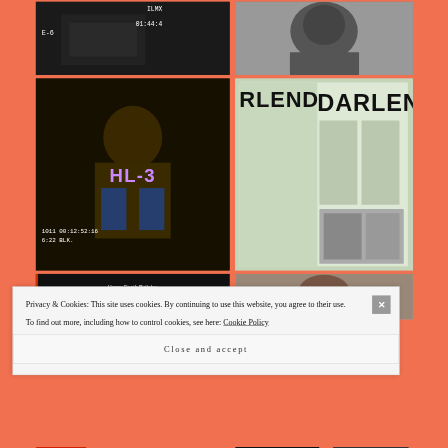[Figure (screenshot): Grid of images on salmon/coral background. Top-left: dark video still with VHS overlay text 'ILMX' and timecode '01:44:4', label 'E-6'. Top-right: black and white close-up portrait photo. Middle-left: dark VHS video still of a man with label 'HL-3' in purple and timecode text. Middle-right: photo of a magazine/newspaper spread with 'DARLENE' headline. Bottom-left: dark image with text 'Happy Death Birthday' and 'Ruby Nash-Garnett'. Bottom-right: color photo partially visible.]
Privacy & Cookies: This site uses cookies. By continuing to use this website, you agree to their use.
To find out more, including how to control cookies, see here: Cookie Policy
Close and accept